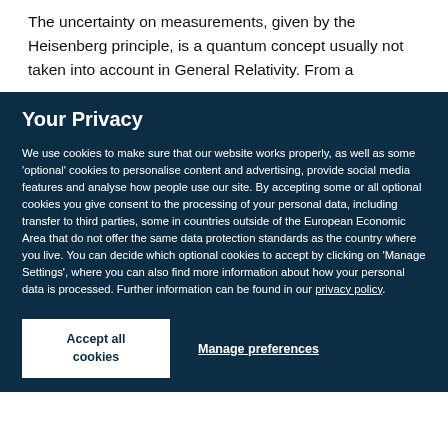The uncertainty on measurements, given by the Heisenberg principle, is a quantum concept usually not taken into account in General Relativity. From a
Your Privacy
We use cookies to make sure that our website works properly, as well as some 'optional' cookies to personalise content and advertising, provide social media features and analyse how people use our site. By accepting some or all optional cookies you give consent to the processing of your personal data, including transfer to third parties, some in countries outside of the European Economic Area that do not offer the same data protection standards as the country where you live. You can decide which optional cookies to accept by clicking on 'Manage Settings', where you can also find more information about how your personal data is processed. Further information can be found in our privacy policy.
Accept all cookies
Manage preferences